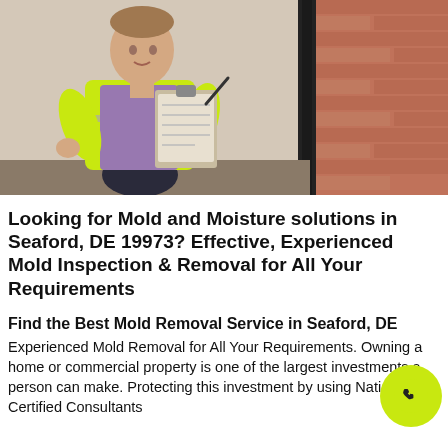[Figure (photo): Person wearing a yellow hi-vis vest and purple shirt, crouching and writing on a clipboard while inspecting a brick wall with a dark crack or pipe junction. Outdoor setting.]
Looking for Mold and Moisture solutions in Seaford, DE 19973? Effective, Experienced Mold Inspection & Removal for All Your Requirements
Find the Best Mold Removal Service in Seaford, DE
Experienced Mold Removal for All Your Requirements. Owning a home or commercial property is one of the largest investments a person can make. Protecting this investment by using Nationally Certified Consultants